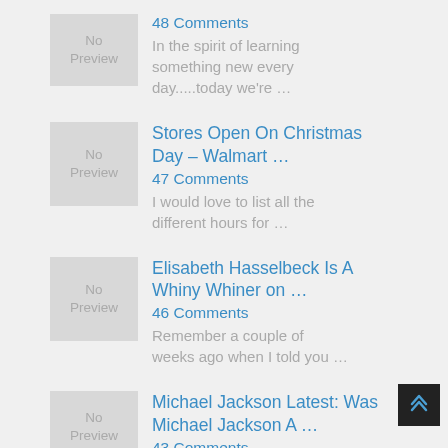48 Comments — In the spirit of learning something new every day.....today we're …
Stores Open On Christmas Day – Walmart … — 47 Comments — I would love to list all the different hours for …
Elisabeth Hasselbeck Is A Whiny Whiner on … — 46 Comments — Remember a couple of weeks ago when I told you …
Michael Jackson Latest: Was Michael Jackson A … — 43 Comments